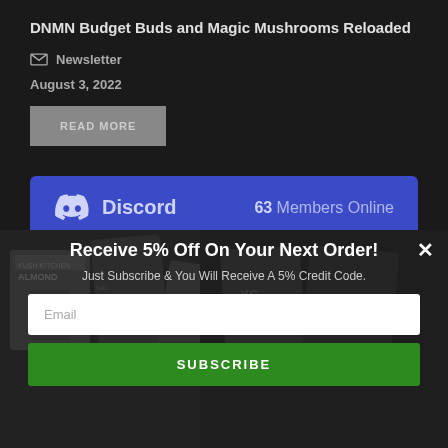DNMN Budget Buds and Magic Mushrooms Reloaded
Newsletter
August 3, 2022
READ MORE
[Figure (infographic): Discord widget bar showing the Discord logo and text, with '63 Members Online' displayed on a blue/indigo background.]
[Figure (photo): Grayscale background photo showing cannabis product packaging including Kush Kitchen, Almond, and other brands in low light.]
Receive 5% Off On Your Next Order!
Just Subscribe & You Will Receive A 5% Credit Code.
Email
SUBSCRIBE